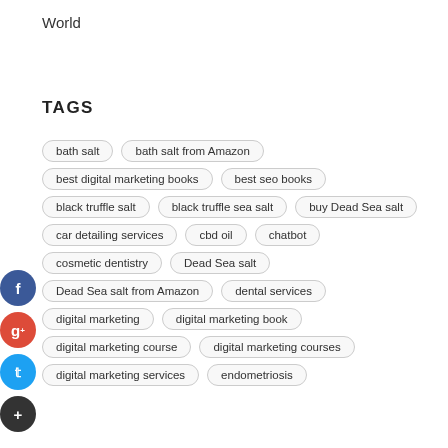World
TAGS
bath salt
bath salt from Amazon
best digital marketing books
best seo books
black truffle salt
black truffle sea salt
buy Dead Sea salt
car detailing services
cbd oil
chatbot
cosmetic dentistry
Dead Sea salt
Dead Sea salt from Amazon
dental services
digital marketing
digital marketing book
digital marketing course
digital marketing courses
digital marketing services
endometriosis